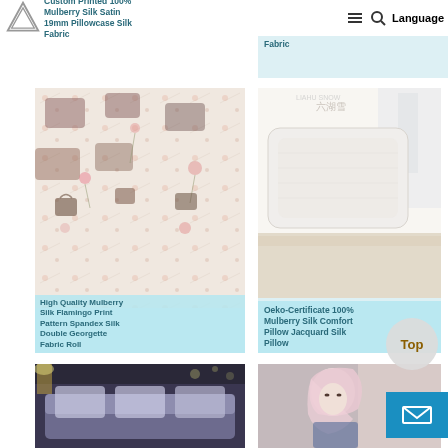[Figure (screenshot): E-commerce product listing page showing silk fabric and pillow products in a grid layout with navigation bar]
Custom Printed 100% Mulberry Silk Satin 19mm Pillowcase Silk Fabric
Silk Textile Charmeuse Plain-dyed Hybrid Multicoloured Silk Fabric
High Quality Mulberry Silk Flamingo Print Pattern Spandex Silk Double Georgette Fabric Roll
Oeko-Certificate 100% Mulberry Silk Comfort Pillow Jacquard Silk Pillow
Top
Language